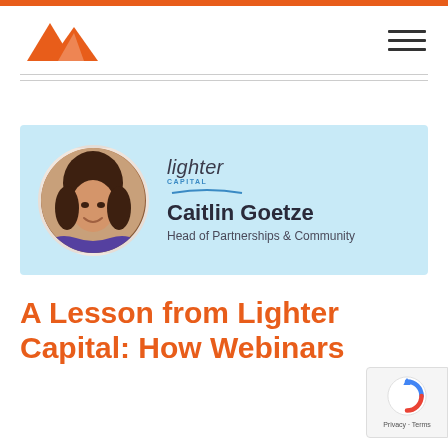[Figure (logo): Orange mountain/triangle logo mark for a marketing/analytics company]
[Figure (illustration): Hamburger menu icon (three horizontal lines)]
[Figure (photo): Speaker card with light blue background showing Caitlin Goetze, Head of Partnerships & Community at Lighter Capital, with circular headshot photo]
A Lesson from Lighter Capital: How Webinars